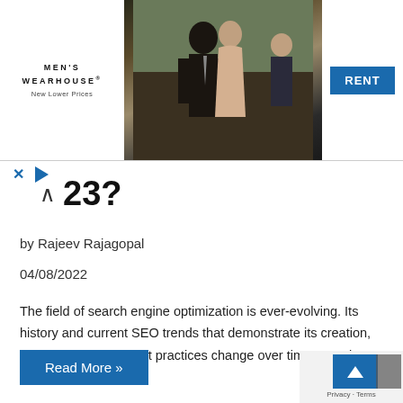[Figure (photo): Men's Wearhouse advertisement banner with a couple in formal wedding attire in the center, a young boy in a suit on the right, and a blue RENT button. The Men's Wearhouse logo with 'New Lower Prices' tagline is on the left.]
23?
by Rajeev Rajagopal
04/08/2022
The field of search engine optimization is ever-evolving. Its history and current SEO trends that demonstrate its creation, development, and best practices change over time. Keeping up with these changes ...
Read More »